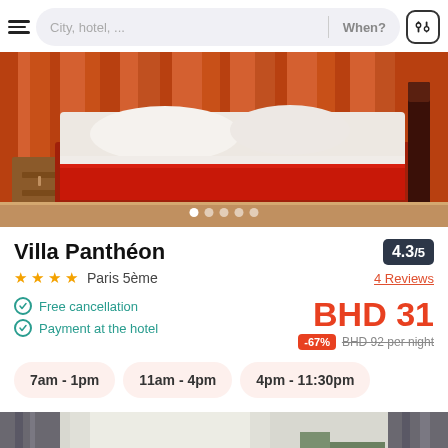City, hotel, ... | When?
[Figure (photo): Hotel room photo showing a bed with red bedrunner and white pillows, orange/wood striped background]
Villa Panthéon
4.3/5 rating
4 Reviews
★★★★ Paris 5ème
Free cancellation
Payment at the hotel
BHD 31
-67% BHD 92 per night
7am - 1pm
11am - 4pm
4pm - 11:30pm
[Figure (photo): Partial hotel room photo showing curtains and green accents]